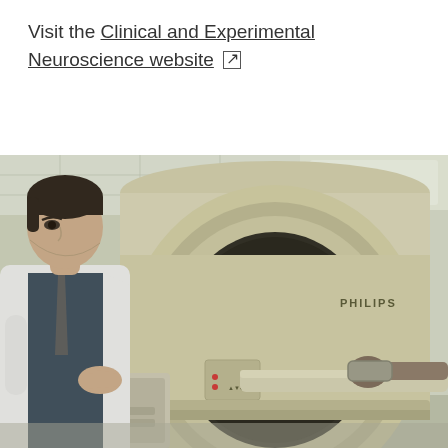Visit the Clinical and Experimental Neuroscience website [external link icon]
[Figure (photo): A medical professional in a white lab coat standing beside a Philips MRI scanner machine, with a patient lying on the scanner bed being fed into the machine. The room is a clinical MRI suite with a cream/yellow colored Philips MRI machine prominently displayed.]